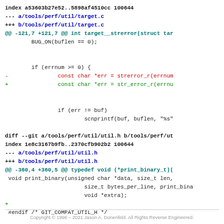index a53603b27e52..5898af4510cc 100644
--- a/tools/perf/util/target.c
+++ b/tools/perf/util/target.c
@@ -121,7 +121,7 @@ int target__strerror(struct tar
        BUG_ON(buflen == 0);


        if (errnum >= 0) {
-               const char *err = strerror_r(errnum
+               const char *err = str_error_r(errnu


                if (err != buf)
                        scnprintf(buf, buflen, "%s"

diff --git a/tools/perf/util/util.h b/tools/perf/ut
index 1e8c3167b9fb..2370cfb902b2 100644
--- a/tools/perf/util/util.h
+++ b/tools/perf/util/util.h
@@ -360,4 +360,5 @@ typedef void (*print_binary_t)(
 void print_binary(unsigned char *data, size_t len,
                        size_t bytes_per_line, print_bina
                        void *extra);
+
 #endif /* GIT_COMPAT_UTIL_H */
Copyright © 1996 – 2021 Jason A. Donenfeld. All Rights Reverse Engineered.